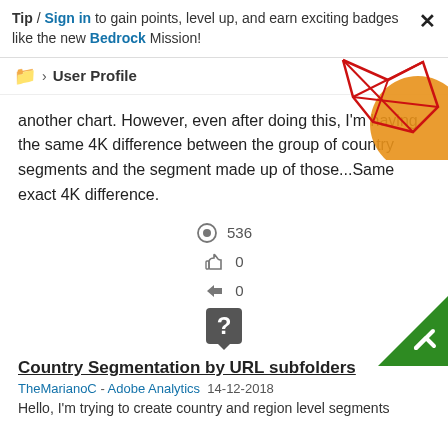Tip / Sign in to gain points, level up, and earn exciting badges like the new Bedrock Mission!
> User Profile
[Figure (illustration): Decorative geometric red line polygon shape with orange circle in top-right corner]
another chart. However, even after doing this, I'm having the same 4K difference between the group of country segments and the segment made up of those...Same exact 4K difference.
👁 536
👍 0
↩ 0
[Figure (illustration): Green triangle checkmark icon in bottom-right corner indicating accepted answer]
[Figure (illustration): Dark question mark icon badge in center]
Country Segmentation by URL subfolders
TheMarianoC - Adobe Analytics  14-12-2018
Hello, I'm trying to create country and region level segments